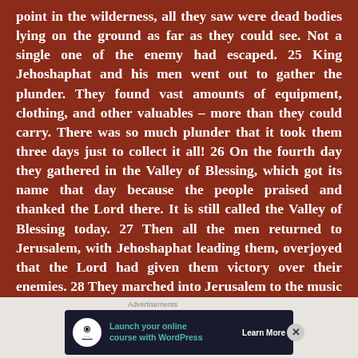point in the wilderness, all they saw were dead bodies lying on the ground as far as they could see. Not a single one of the enemy had escaped. 25 King Jehoshaphat and his men went out to gather the plunder. They found vast amounts of equipment, clothing, and other valuables – more than they could carry. There was so much plunder that it took them three days just to collect it all! 26 On the fourth day they gathered in the Valley of Blessing, which got its name that day because the people praised and thanked the Lord there. It is still called the Valley of Blessing today. 27 Then all the men returned to Jerusalem, with Jehoshaphat leading them, overjoyed that the Lord had given them victory over their enemies. 28 They marched into Jerusalem to the music of harps, lyres, and trumpets, and they proceeded to
[Figure (other): Advertisement banner for launching an online course with WordPress. Shows a tree/person icon, text 'Launch your online course with WordPress', and a 'Learn More' button. Dark navy background.]